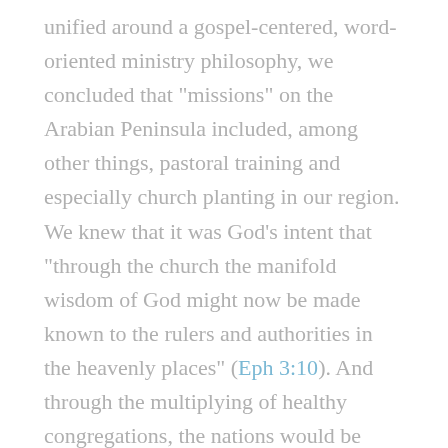unified around a gospel-centered, word-oriented ministry philosophy, we concluded that "missions" on the Arabian Peninsula included, among other things, pastoral training and especially church planting in our region. We knew that it was God's intent that "through the church the manifold wisdom of God might now be made known to the rulers and authorities in the heavenly places" (Eph 3:10). And through the multiplying of healthy congregations, the nations would be reached with the gospel message.
As early as 2007, we were praying for opportunities to plant additional churches, looking for property to buy, and seeking government authorization to establish new churches. In 2010 we told our members, "Rather than one mega-church, we long to